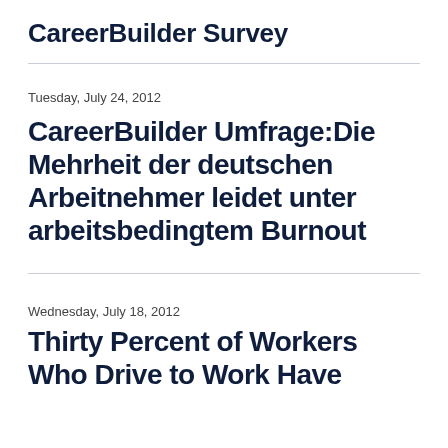CareerBuilder Survey
Tuesday, July 24, 2012
CareerBuilder Umfrage:Die Mehrheit der deutschen Arbeitnehmer leidet unter arbeitsbedingtem Burnout
Wednesday, July 18, 2012
Thirty Percent of Workers Who Drive to Work Have